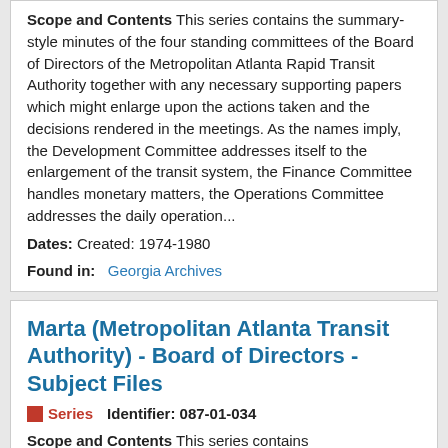Scope and Contents This series contains the summary-style minutes of the four standing committees of the Board of Directors of the Metropolitan Atlanta Rapid Transit Authority together with any necessary supporting papers which might enlarge upon the actions taken and the decisions rendered in the meetings. As the names imply, the Development Committee addresses itself to the enlargement of the transit system, the Finance Committee handles monetary matters, the Operations Committee addresses the daily operation...
Dates: Created: 1974-1980
Found in: Georgia Archives
Marta (Metropolitan Atlanta Transit Authority) - Board of Directors - Subject Files
Series   Identifier: 087-01-034
Scope and Contents This series contains correspondence, attendance sheets, speeches, letters to the editors of newspapers and other